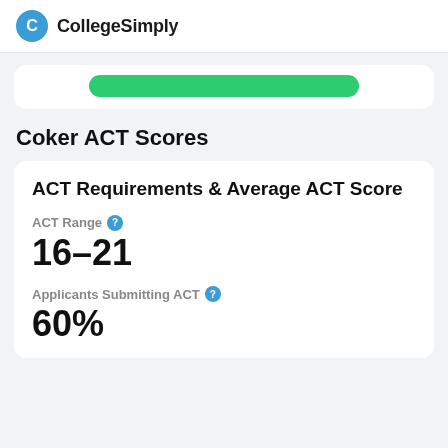CollegeSimply
[Figure (other): Partially visible green button/bar at top of a white card]
Coker ACT Scores
ACT Requirements & Average ACT Score
ACT Range
16-21
Applicants Submitting ACT
60%